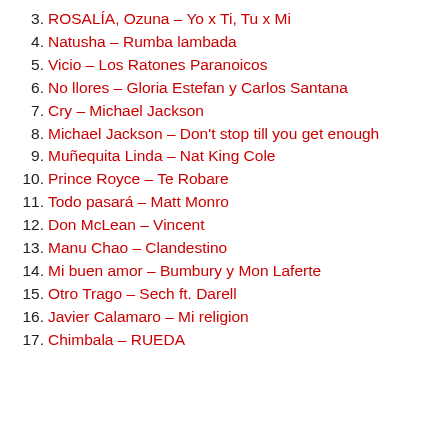3. ROSALÍA, Ozuna – Yo x Ti, Tu x Mi
4. Natusha – Rumba lambada
5. Vicio – Los Ratones Paranoicos
6. No llores – Gloria Estefan y Carlos Santana
7. Cry – Michael Jackson
8. Michael Jackson – Don't stop till you get enough
9. Muñequita Linda – Nat King Cole
10. Prince Royce – Te Robare
11. Todo pasará – Matt Monro
12. Don McLean – Vincent
13. Manu Chao – Clandestino
14. Mi buen amor – Bumbury y Mon Laferte
15. Otro Trago – Sech ft. Darell
16. Javier Calamaro – Mi religion
17. Chimbala – RUEDA